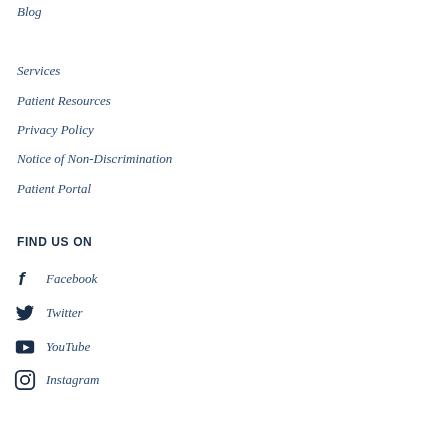Blog
Services
Patient Resources
Privacy Policy
Notice of Non-Discrimination
Patient Portal
FIND US ON
Facebook
Twitter
YouTube
Instagram